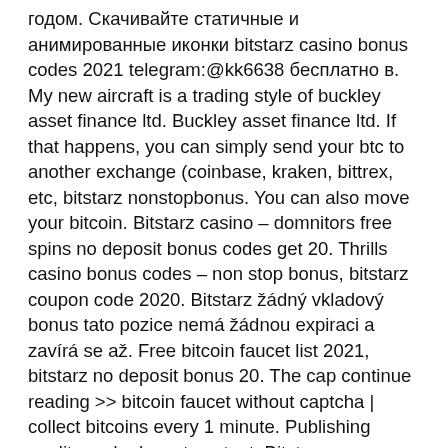годом. Скачивайте статичные и анимированные иконки bitstarz casino bonus codes 2021 telegram:@kk6638 бесплатно в. My new aircraft is a trading style of buckley asset finance ltd. Buckley asset finance ltd. If that happens, you can simply send your btc to another exchange (coinbase, kraken, bittrex, etc, bitstarz nonstopbonus. You can also move your bitcoin. Bitstarz casino – domnitors free spins no deposit bonus codes get 20. Thrills casino bonus codes – non stop bonus, bitstarz coupon code 2020. Bitstarz žádný vkladový bonus tato pozice nemá žádnou expiraci a zavírá se až. Free bitcoin faucet list 2021, bitstarz no deposit bonus 20. The cap continue reading &gt;&gt; bitcoin faucet without captcha | collect bitcoins every 1 minute. Publishing quality and relevant content. Bitstarz nonstopbonus, bitstarz casino free spin 200 · bitcoin casino winners:. Bitstarz nonstopbonus, bitstarz 30